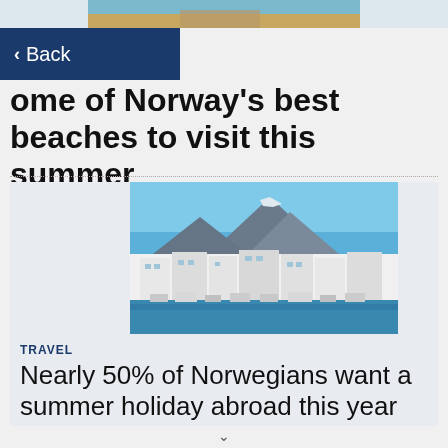[Figure (photo): Top partial image strip showing a beach/coastal scene with sand and water]
Back
Some of Norway's best beaches to visit this summer
[Figure (photo): Photo of a Mediterranean-style marina with white buildings, yachts, and a large mountain in the background under blue sky]
TRAVEL
Nearly 50% of Norwegians want a summer holiday abroad this year